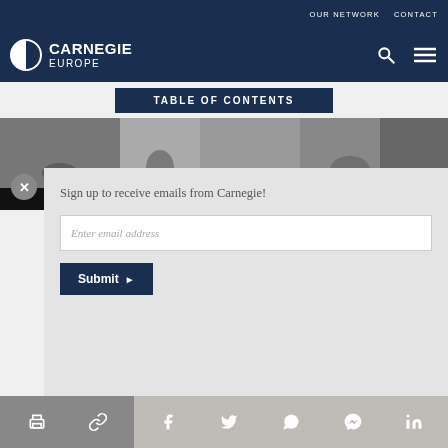OUR NETWORK   CONTACT
[Figure (logo): Carnegie Europe logo with half-circle icon and bold text 'CARNEGIE EUROPE']
TABLE OF CONTENTS
[Figure (photo): Photo strip showing crowd of people]
Sign up to receive emails from Carnegie!
Enter email address
Submit
In Turkey... society ha... Islamic organizations. Although Islamic civil society
Print | Link | Facebook | Twitter | WhatsApp | Messenger | LinkedIn